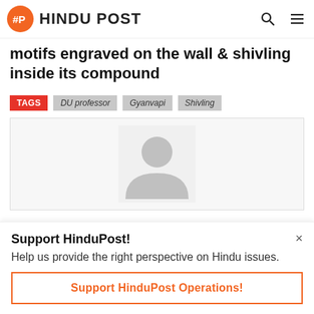HINDU POST
motifs engraved on the wall & shivling inside its compound
TAGS  DU professor  Gyanvapi  Shivling
[Figure (illustration): Default user avatar/profile placeholder — grey silhouette of a person on light grey background]
Support HinduPost!
Help us provide the right perspective on Hindu issues.
Support HinduPost Operations!